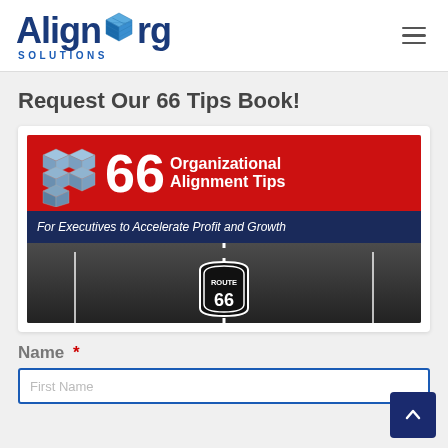[Figure (logo): AlignOrg Solutions logo with Rubik's cube icon replacing the 'O' in Org, blue text, with 'SOLUTIONS' subtitle]
Request Our 66 Tips Book!
[Figure (illustration): Book cover for '66 Organizational Alignment Tips For Executives to Accelerate Profit and Growth' showing a red header bar with Rubik's cubes, a navy subtitle bar, and a black-and-white Route 66 road photo]
Name *
First Name